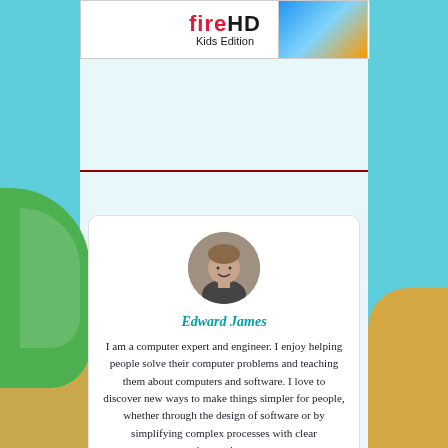[Figure (other): Amazon Fire HD Kids Edition tablet advertisement banner with colorful imagery]
Edward James
I am a computer expert and engineer. I enjoy helping people solve their computer problems and teaching them about computers and software. I love to discover new ways to make things simpler for people, whether through the design of software or by simplifying complex processes with clear instructions.